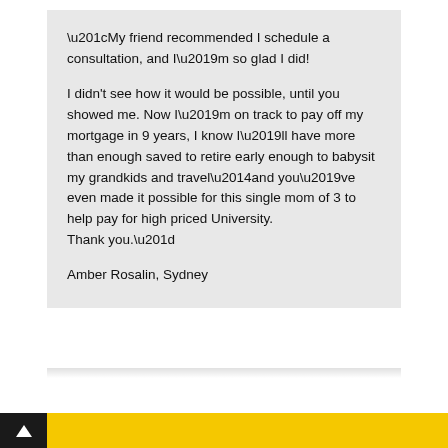“My friend recommended I schedule a consultation, and I’m so glad I did!

I didn't see how it would be possible, until you showed me. Now I’m on track to pay off my mortgage in 9 years, I know I’ll have more than enough saved to retire early enough to babysit my grandkids and travel—and you’ve even made it possible for this single mom of 3 to help pay for high priced University.
Thank you."

Amber Rosalin, Sydney